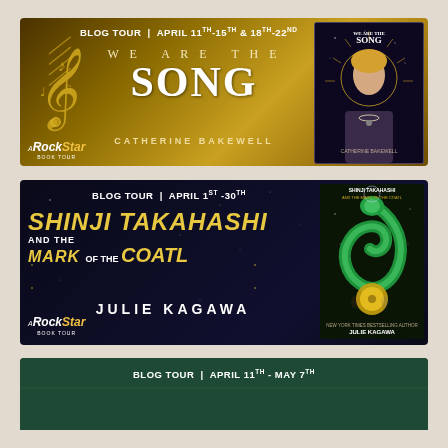[Figure (infographic): Blog tour banner for 'We Are The Song' by Catherine Bakewell. Gold/brown background with music notes on left, large title text center, book cover on right. Text reads: BLOG TOUR | APRIL 11th-15th & 18th-22nd. WE ARE THE SONG. CATHERINE BAKEWELL. A Rock Star Book Tour logo.]
[Figure (infographic): Blog tour banner for 'Shinji Takahashi and the Mark of the Coatl' by Julie Kagawa. Dark blue/black background with stars, yellow and white title text, book cover on right. Text reads: BLOG TOUR | APRIL 1st-30th. SHINJI TAKAHASHI AND THE MARK OF THE COATL. JULIE KAGAWA. A Rock Star Book Tour logo.]
[Figure (infographic): Partial blog tour banner (cropped at bottom). Green/teal background. Text reads: BLOG TOUR | APRIL 11th - MAY 7th]